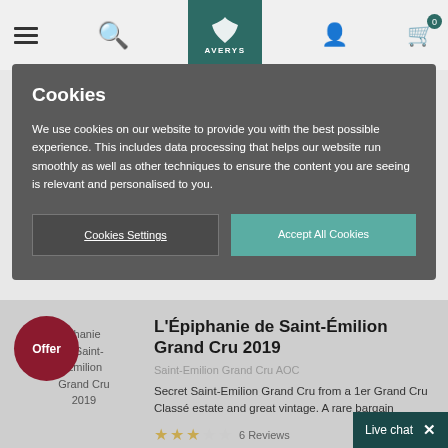Averys navigation bar with menu, search, logo, user, and cart icons
Cookies
We use cookies on our website to provide you with the best possible experience. This includes data processing that helps our website run smoothly as well as other techniques to ensure the content you are seeing is relevant and personalised to you.
Cookies Settings | Accept All Cookies
L'Épiphanie de Saint-Émilion Grand Cru 2019
Saint-Emilion Grand Cru AOC
Secret Saint-Emilion Grand Cru from a 1er Grand Cru Classé estate and great vintage. A rare bargain
6 Reviews